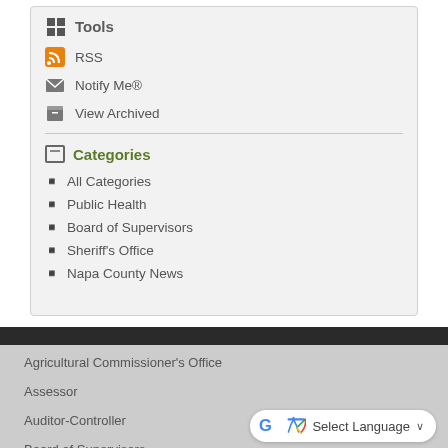Tools
RSS
Notify Me®
View Archived
Categories
All Categories
Public Health
Board of Supervisors
Sheriff’s Office
Napa County News
Agricultural Commissioner's Office
Assessor
Auditor-Controller
Board of Supervisors
Select Language